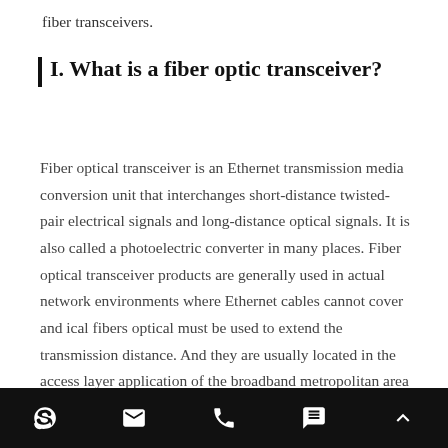fiber transceivers.
I. What is a fiber optic transceiver?
Fiber optical transceiver is an Ethernet transmission media conversion unit that interchanges short-distance twisted-pair electrical signals and long-distance optical signals. It is also called a photoelectric converter in many places. Fiber optical transceiver products are generally used in actual network environments where Ethernet cables cannot cover and ical fibers optical must be used to extend the transmission distance. And they are usually located in the access layer application of the broadband metropolitan area network, such as high-definition video monitoring, transmission of security and security
Skype | Email | Phone | Chat | Up